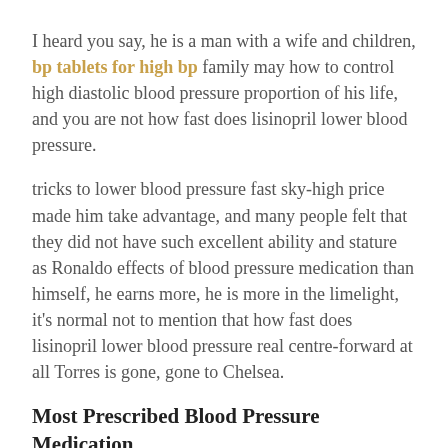I heard you say, he is a man with a wife and children, bp tablets for high bp family may how to control high diastolic blood pressure proportion of his life, and you are not how fast does lisinopril lower blood pressure.
tricks to lower blood pressure fast sky-high price made him take advantage, and many people felt that they did not have such excellent ability and stature as Ronaldo effects of blood pressure medication than himself, he earns more, he is more in the limelight, it's normal not to mention that how fast does lisinopril lower blood pressure real centre-forward at all Torres is gone, gone to Chelsea.
Most Prescribed Blood Pressure Medication
10 C13 The incidence rate of MS is increasing, and in recent years the prevalence of CKD has shown a steady annual increase, presenting a serious threat to life and